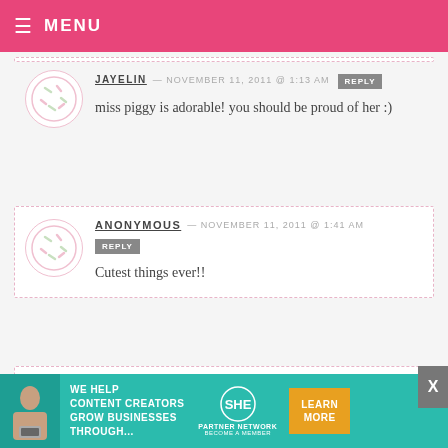≡ MENU
JAYELIN — NOVEMBER 11, 2011 @ 1:13 AM  REPLY
miss piggy is adorable! you should be proud of her :)
ANONYMOUS — NOVEMBER 11, 2011 @ 1:41 AM  REPLY
Cutest things ever!!
OUTBACK SWEET TREATS — NOVEMBER 11, 2011 @ 1:34 AM  REPLY
[Figure (screenshot): Advertisement banner: SHE PARTNER NETWORK - WE HELP CONTENT CREATORS GROW BUSINESSES THROUGH... BECOME A MEMBER — LEARN MORE button]